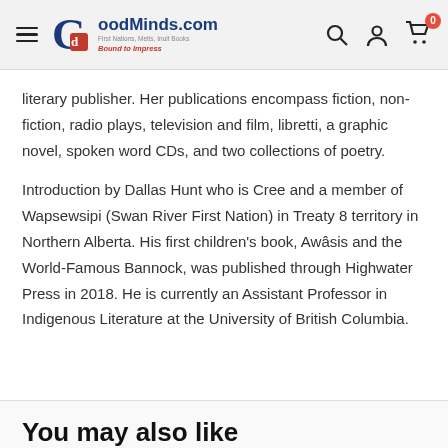GoodMinds.com — First Nations, Metis, Inuit Books — Bound to Impress
literary publisher. Her publications encompass fiction, non-fiction, radio plays, television and film, libretti, a graphic novel, spoken word CDs, and two collections of poetry.
Introduction by Dallas Hunt who is Cree and a member of Wapsewsipi (Swan River First Nation) in Treaty 8 territory in Northern Alberta. His first children's book, Awâsis and the World-Famous Bannock, was published through Highwater Press in 2018. He is currently an Assistant Professor in Indigenous Literature at the University of British Columbia.
You may also like